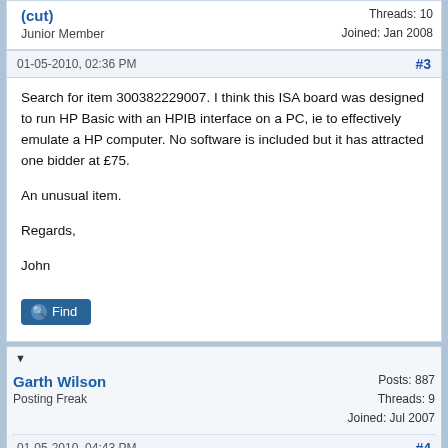Junior Member
Threads: 10
Joined: Jan 2008
01-05-2010, 02:36 PM
#3
Search for item 300382229007. I think this ISA board was designed to run HP Basic with an HPIB interface on a PC, ie to effectively emulate a HP computer. No software is included but it has attracted one bidder at £75.

An unusual item.

Regards,

John
Find
Garth Wilson
Posting Freak
Posts: 887
Threads: 9
Joined: Jul 2007
01-05-2010, 04:43 PM
#4